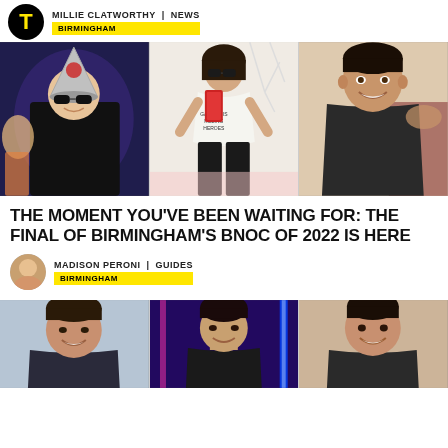MILLIE CLATWORTHY | NEWS | BIRMINGHAM
[Figure (photo): Three-photo collage: left - man in silver wizard hat and sunglasses in dark outfit; center - woman in mirror selfie wearing white t-shirt with text 'GAY SEX IS KILLING HEROES'; right - young man smiling with arm around someone]
THE MOMENT YOU'VE BEEN WAITING FOR: THE FINAL OF BIRMINGHAM'S BNOC OF 2022 IS HERE
MADISON PERONI | GUIDES | BIRMINGHAM
[Figure (photo): Three-photo collage at bottom: left - young man smiling; center - woman in purple/blue light; right - young man smiling]